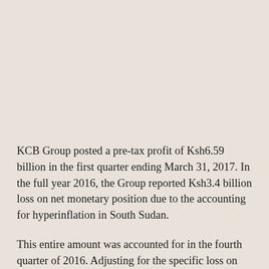KCB Group posted a pre-tax profit of Ksh6.59 billion in the first quarter ending March 31, 2017. In the full year 2016, the Group reported Ksh3.4 billion loss on net monetary position due to the accounting for hyperinflation in South Sudan.
This entire amount was accounted for in the fourth quarter of 2016. Adjusting for the specific loss on net monetary position attributable to quarter 1 of 2016 translates to a 5% growth in pre-tax profit in Q1 2017 over same period in